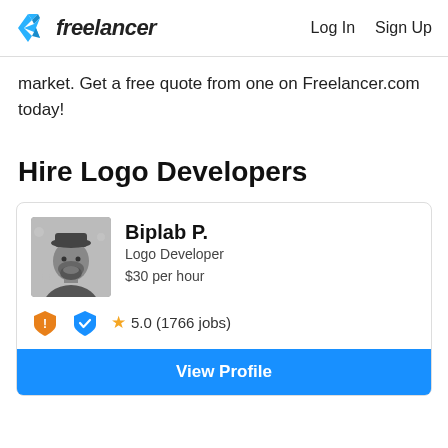freelancer  Log In  Sign Up
market. Get a free quote from one on Freelancer.com today!
Hire Logo Developers
[Figure (photo): Profile photo of Biplab P., a bearded man in black and white photo]
Biplab P.
Logo Developer
$30 per hour
5.0 (1766 jobs)
View Profile